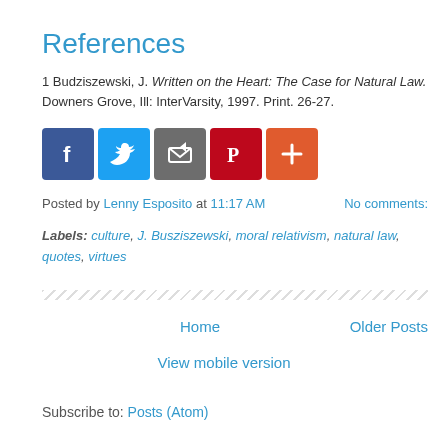References
1 Budziszewski, J. Written on the Heart: The Case for Natural Law. Downers Grove, Ill: InterVarsity, 1997. Print. 26-27.
[Figure (other): Social media sharing icons: Facebook, Twitter, Email/Share, Pinterest, and a plus/more button]
Posted by Lenny Esposito at 11:17 AM   No comments:
Labels: culture, J. Busziszewski, moral relativism, natural law, quotes, virtues
Home   Older Posts
View mobile version
Subscribe to: Posts (Atom)